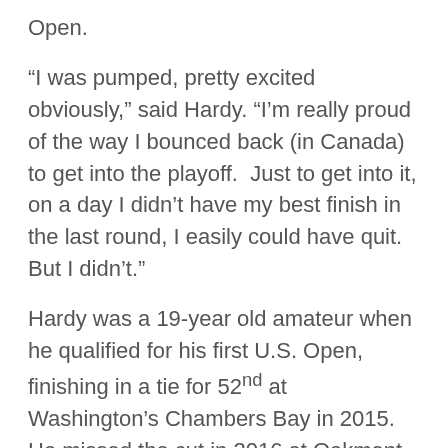Open.
“I was pumped, pretty excited obviously,” said Hardy. “I’m really proud of the way I bounced back (in Canada) to get into the playoff.  Just to get into it, on a day I didn’t have my best finish in the last round, I easily could have quit.  But I didn’t.”
Hardy was a 19-year old amateur when he qualified for his first U.S. Open, finishing in a tie for 52nd at Washington’s Chambers Bay in 2015.  He missed the cut in 2016 at Oakmont, in Pennsylvania, and in 2019 at California’s Pebble Beach.
The Country Club course is not a mystery to Hardy.  He played in the 2013 U.S. Amateur there when he was still in high school at Glenbrook